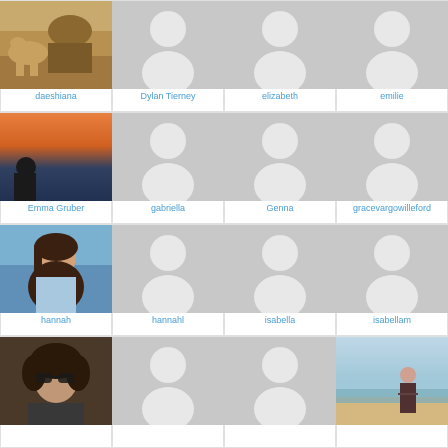[Figure (photo): Profile photo of daeshiana - person with camel outdoors]
daeshiana
[Figure (illustration): Default avatar placeholder silhouette]
Dylan Tierney
[Figure (illustration): Default avatar placeholder silhouette]
elizabeth
[Figure (illustration): Default avatar placeholder silhouette]
emilie
[Figure (photo): Profile photo of Emma Gruber - person at sunset by water]
Emma Gruber
[Figure (illustration): Default avatar placeholder silhouette]
gabriella
[Figure (illustration): Default avatar placeholder silhouette]
Genna
[Figure (illustration): Default avatar placeholder silhouette]
gracevargowilleford
[Figure (photo): Profile photo of hannah - smiling woman with long dark hair]
hannah
[Figure (illustration): Default avatar placeholder silhouette]
hannahl
[Figure (illustration): Default avatar placeholder silhouette]
isabella
[Figure (illustration): Default avatar placeholder silhouette]
isabellam
[Figure (photo): Profile photo - person with sunglasses and curly hair]
[Figure (illustration): Default avatar placeholder silhouette]
[Figure (illustration): Default avatar placeholder silhouette]
[Figure (photo): Profile photo - person on beach]